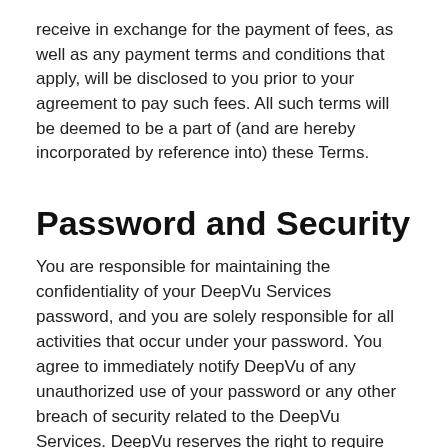receive in exchange for the payment of fees, as well as any payment terms and conditions that apply, will be disclosed to you prior to your agreement to pay such fees. All such terms will be deemed to be a part of (and are hereby incorporated by reference into) these Terms.
Password and Security
You are responsible for maintaining the confidentiality of your DeepVu Services password, and you are solely responsible for all activities that occur under your password. You agree to immediately notify DeepVu of any unauthorized use of your password or any other breach of security related to the DeepVu Services. DeepVu reserves the right to require you to alter your password if DeepVu believes that your password is no longer secure. You agree that you will be solely responsible for any loss or damage you suffer as a result of your failure to adequately